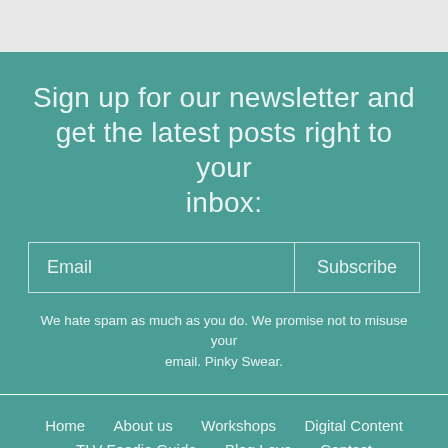Sign up for our newsletter and get the latest posts right to your inbox:
Email | Subscribe
We hate spam as much as you do. We promise not to misuse your email. Pinky Swear.
Home
About us
Workshops
Digital Content
TLV Foodie Guide
Blog Love
Contact
crafted by thetwo   Copyright © 2015 Matkonation. All rights reserved.